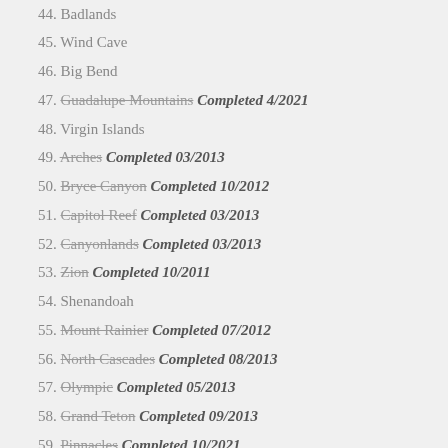44. Badlands
45. Wind Cave
46. Big Bend
47. Guadalupe Mountains Completed 4/2021
48. Virgin Islands
49. Arches Completed 03/2013
50. Bryce Canyon Completed 10/2012
51. Capitol Reef Completed 03/2013
52. Canyonlands Completed 03/2013
53. Zion Completed 10/2011
54. Shenandoah
55. Mount Rainier Completed 07/2012
56. North Cascades Completed 08/2013
57. Olympic Completed 05/2013
58. Grand Teton Completed 09/2013
59. Pinnacles Completed 10/2021
60. Gateway Arch